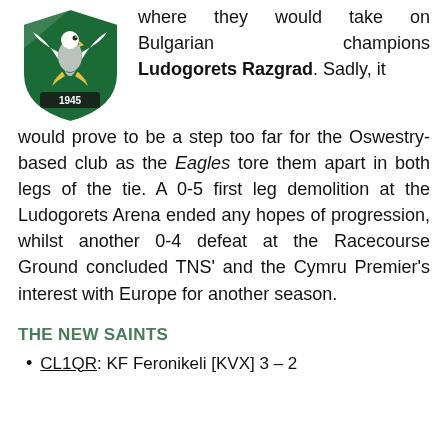[Figure (logo): TNS (The New Saints) football club crest — green shield with eagle and '1945' banner]
where they would take on Bulgarian champions Ludogorets Razgrad. Sadly, it would prove to be a step too far for the Oswestry-based club as the Eagles tore them apart in both legs of the tie. A 0-5 first leg demolition at the Ludogorets Arena ended any hopes of progression, whilst another 0-4 defeat at the Racecourse Ground concluded TNS' and the Cymru Premier's interest with Europe for another season.
THE NEW SAINTS
CL1QR: KF Feronikeli [KVX] 3 – 2